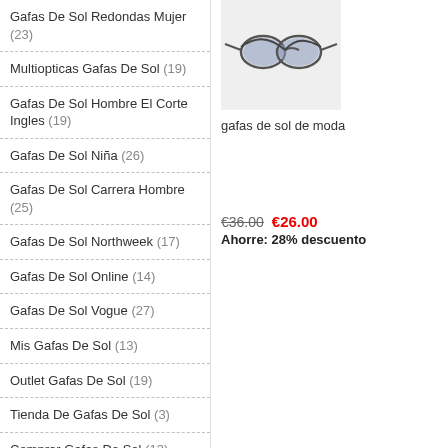Gafas De Sol Redondas Mujer (23)
Multiopticas Gafas De Sol (19)
Gafas De Sol Hombre El Corte Ingles (19)
Gafas De Sol Niña (26)
Gafas De Sol Carrera Hombre (25)
Gafas De Sol Northweek (17)
Gafas De Sol Online (14)
Gafas De Sol Vogue (27)
Mis Gafas De Sol (13)
Outlet Gafas De Sol (19)
Tienda De Gafas De Sol (3)
Comprar Gafas De Sol (13)
Gafas De Sol 2020 Mujer (11)
Gafas De Sol Arnette Hombre (26)
[Figure (photo): Sunglasses product image on light grey background]
gafas de sol de moda
€36.00  €26.00
Ahorre: 28% descuento